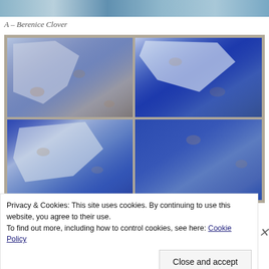[Figure (photo): Partial top strip of an artwork or decorative image with blue/green tones]
A – Berenice Clover
[Figure (photo): Four-panel grid of photographs showing blue mixed-media artwork with floral and abstract patterns, white patches against deep blue background]
Privacy & Cookies: This site uses cookies. By continuing to use this website, you agree to their use.
To find out more, including how to control cookies, see here: Cookie Policy
Close and accept